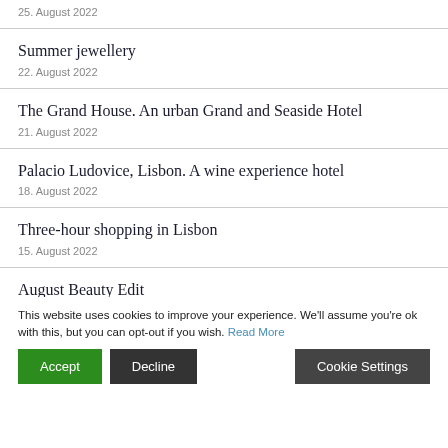25. August 2022
Summer jewellery
22. August 2022
The Grand House. An urban Grand and Seaside Hotel
21. August 2022
Palacio Ludovice, Lisbon. A wine experience hotel
18. August 2022
Three-hour shopping in Lisbon
15. August 2022
August Beauty Edit
10. August 2022
Vintage & current
Holiday Shop
This website uses cookies to improve your experience. We'll assume you're ok with this, but you can opt-out if you wish. Read More